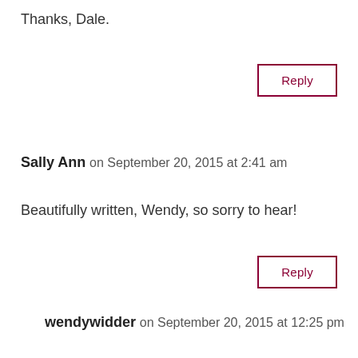Thanks, Dale.
Reply
Sally Ann on September 20, 2015 at 2:41 am
Beautifully written, Wendy, so sorry to hear!
Reply
wendywidder on September 20, 2015 at 12:25 pm
Thanks, Sally.
Reply